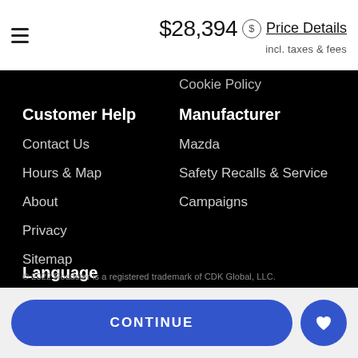$28,394 incl. taxes & fees Price Details
Cookie Policy
Customer Help
Contact Us
Hours & Map
About
Privacy
Sitemap
Manufacturer
Mazda
Safety Recalls & Service
Campaigns
Language
English
© 2022 Roadster is a registered trademark of CDK Global, LLC.
CONTINUE